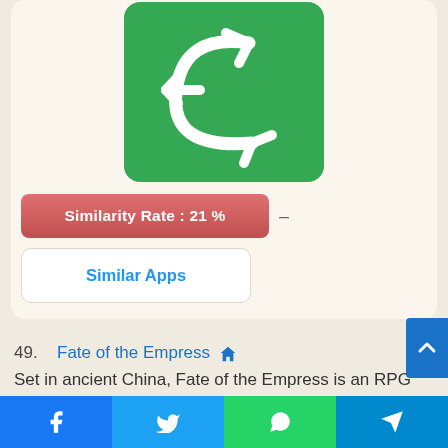[Figure (logo): App icon on green background with white stylized lizard/gecko arrow logo]
Similarity Rate : 21 %
Similar Apps
49. Fate of the Empress
Set in ancient China, Fate of the Empress is an RPG that faithfully recreates a majestic imperial city. Get ready for palace intrigue, beautiful 3D